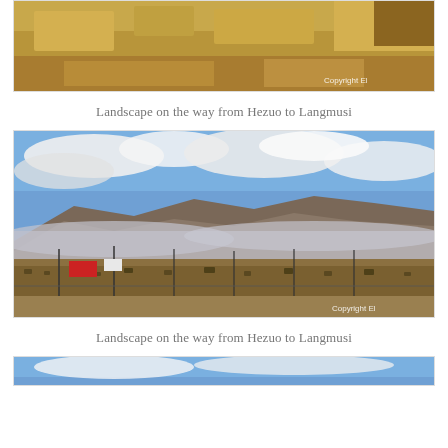[Figure (photo): Top portion of a landscape photo showing golden-brown grassland/steppe with a copyright watermark in the bottom right corner (partially cropped).]
Landscape on the way from Hezuo to Langmusi
[Figure (photo): Landscape photo showing mountains partially shrouded in clouds/mist. The foreground has brown scrubland with utility poles, fences and a red billboard. The sky is blue with white clouds. A copyright watermark is visible in the bottom right corner.]
Landscape on the way from Hezuo to Langmusi
[Figure (photo): Bottom portion of another landscape photo, partially cropped. Shows blue sky at the top.]